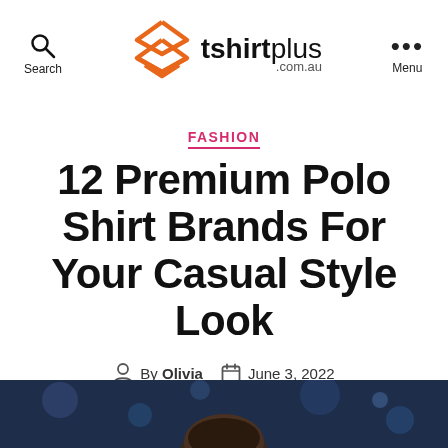tshirtplus.com.au — Search | Menu
FASHION
12 Premium Polo Shirt Brands For Your Casual Style Look
By Olivia  June 3, 2022
[Figure (photo): Bottom strip showing the back of a man's head against a dark blue blurred background]